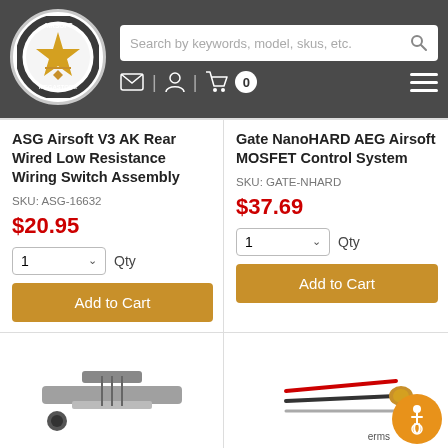Airsoft Megastore — Search by keywords, model, skus, etc.
ASG Airsoft V3 AK Rear Wired Low Resistance Wiring Switch Assembly
SKU: ASG-16632
$20.95
Gate NanoHARD AEG Airsoft MOSFET Control System
SKU: GATE-NHARD
$37.69
[Figure (photo): Product image of airsoft wiring switch assembly]
[Figure (photo): Product image of Gate NanoHARD MOSFET with wires]